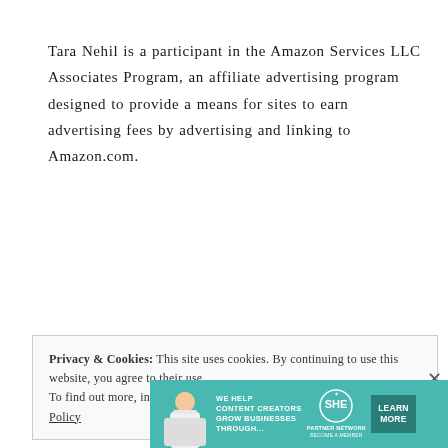Tara Nehil is a participant in the Amazon Services LLC Associates Program, an affiliate advertising program designed to provide a means for sites to earn advertising fees by advertising and linking to Amazon.com.
Privacy & Cookies: This site uses cookies. By continuing to use this website, you agree to their use.
To find out more, including how to control cookies, see here: Cookie Policy
[Figure (infographic): SHE Partner Network advertisement banner with teal background, person sitting with laptop, text 'WE HELP CONTENT CREATORS GROW BUSINESSES THROUGH...', SHE logo, 'PARTNER NETWORK BECOME A MEMBER' text, and 'LEARN MORE' button]